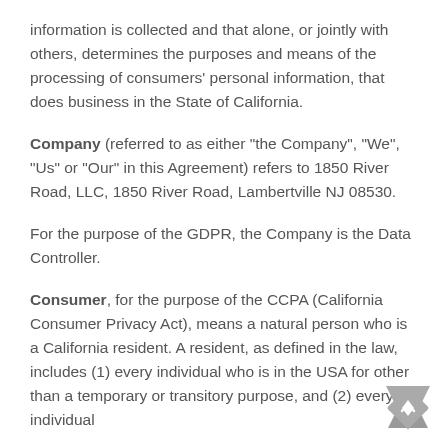information is collected and that alone, or jointly with others, determines the purposes and means of the processing of consumers' personal information, that does business in the State of California.
Company (referred to as either "the Company", "We", "Us" or "Our" in this Agreement) refers to 1850 River Road, LLC, 1850 River Road, Lambertville NJ 08530.
For the purpose of the GDPR, the Company is the Data Controller.
Consumer, for the purpose of the CCPA (California Consumer Privacy Act), means a natural person who is a California resident. A resident, as defined in the law, includes (1) every individual who is in the USA for other than a temporary or transitory purpose, and (2) every individual